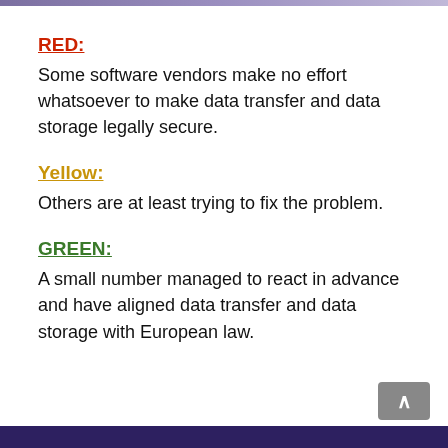RED:
Some software vendors make no effort whatsoever to make data transfer and data storage legally secure.
Yellow:
Others are at least trying to fix the problem.
GREEN:
A small number managed to react in advance and have aligned data transfer and data storage with European law.